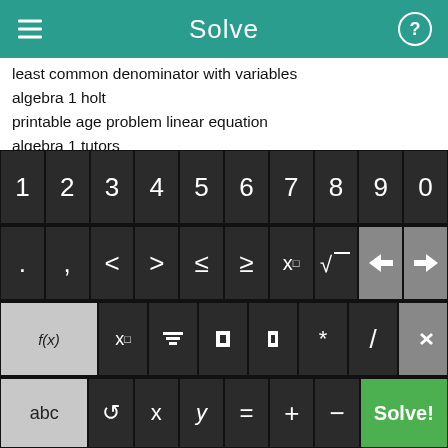Solve
least common denominator with variables
algebra 1 holt
printable age problem linear equation
algebra 1 tutors
linear equations trivia
used math textbook in san antonio
math fundmentals worksheet with answer sheet
holt chemistry worksheets
laplace transform using ti 89
compass testing cheat
[Figure (screenshot): Calculator keyboard with digit row (1-9,0), symbol row (. , < > ≤ ≥ x□ √ backspace nav), function row (f(x) x□ fraction abs-value grouping * / delete), and bottom row (abc ↺ x y = + - Solve! button)]